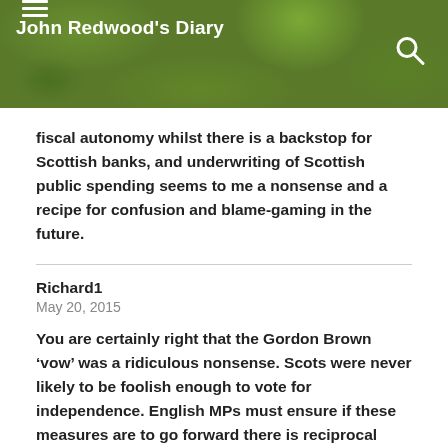John Redwood's Diary
fiscal autonomy whilst there is a backstop for Scottish banks, and underwriting of Scottish public spending seems to me a nonsense and a recipe for confusion and blame-gaming in the future.
Richard1
May 20, 2015
You are certainly right that the Gordon Brown ‘vow’ was a ridiculous nonsense. Scots were never likely to be foolish enough to vote for independence. English MPs must ensure if these measures are to go forward there is reciprocal Justice for England.